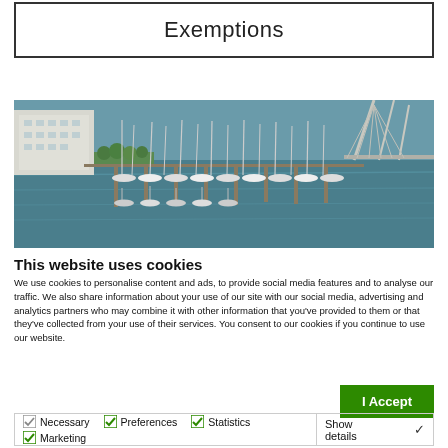Exemptions
[Figure (photo): Aerial view of a marina with many sailboats and yachts docked in slips, with waterfront buildings visible on the left and a bridge structure on the right.]
This website uses cookies
We use cookies to personalise content and ads, to provide social media features and to analyse our traffic. We also share information about your use of our site with our social media, advertising and analytics partners who may combine it with other information that you've provided to them or that they've collected from your use of their services. You consent to our cookies if you continue to use our website.
I Accept
Necessary  Preferences  Statistics  Marketing  Show details